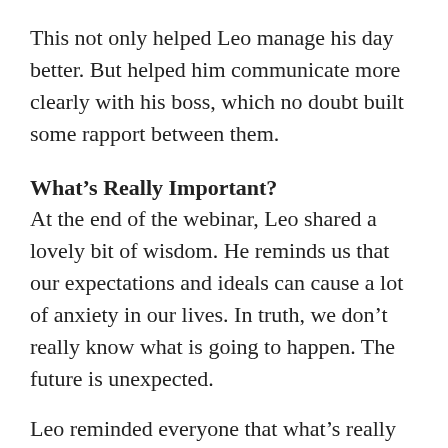This not only helped Leo manage his day better. But helped him communicate more clearly with his boss, which no doubt built some rapport between them.
What's Really Important?
At the end of the webinar, Leo shared a lovely bit of wisdom. He reminds us that our expectations and ideals can cause a lot of anxiety in our lives. In truth, we don't really know what is going to happen. The future is unexpected.
Leo reminded everyone that what's really important is being happy right now. There is no way to know if all of your dreams will come true. But if you work at it, you can learn to be happy right now.
And whether your day is simple or complicated